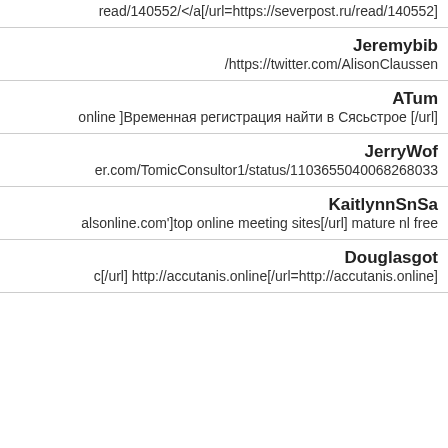read/140552/</a[/url=https://severpost.ru/read/140552]
Jeremybib
/https://twitter.com/AlisonClaussen
ATum
online ]Временная регистрация найти в Сясьстрое [/url]
JerryWof
er.com/TomicConsultor1/status/110365504006826803​3
KaitlynnSnSa
alsonline.com']top online meeting sites[/url] mature nl free
Douglasgot
c[/url] http://accutanis.online[/url=http://accutanis.online]